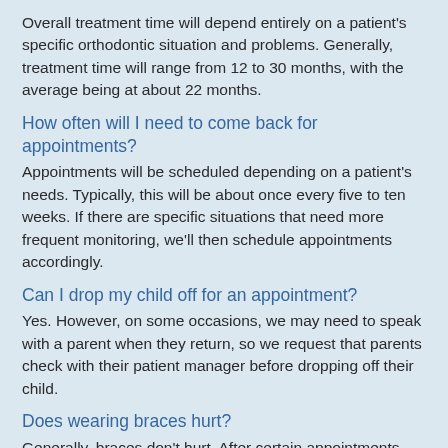Overall treatment time will depend entirely on a patient's specific orthodontic situation and problems. Generally, treatment time will range from 12 to 30 months, with the average being at about 22 months.
How often will I need to come back for appointments?
Appointments will be scheduled depending on a patient's needs. Typically, this will be about once every five to ten weeks. If there are specific situations that need more frequent monitoring, we'll then schedule appointments accordingly.
Can I drop my child off for an appointment?
Yes. However, on some occasions, we may need to speak with a parent when they return, so we request that parents check with their patient manager before dropping off their child.
Does wearing braces hurt?
Generally, braces don't hurt. After certain appointments, your teeth may be sore for a few days, but after most visits, you